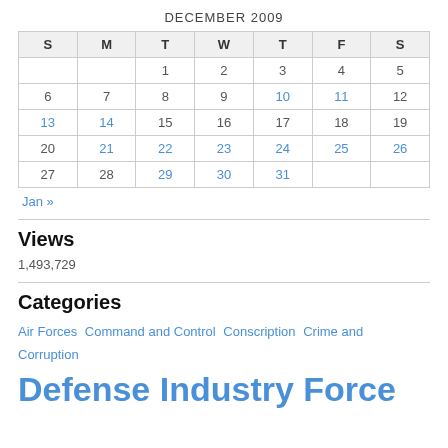DECEMBER 2009
| S | M | T | W | T | F | S |
| --- | --- | --- | --- | --- | --- | --- |
|  |  | 1 | 2 | 3 | 4 | 5 |
| 6 | 7 | 8 | 9 | 10 | 11 | 12 |
| 13 | 14 | 15 | 16 | 17 | 18 | 19 |
| 20 | 21 | 22 | 23 | 24 | 25 | 26 |
| 27 | 28 | 29 | 30 | 31 |  |  |
Jan »
Views
1,493,729
Categories
Air Forces  Command and Control  Conscription  Crime and Corruption
Defense Industry Force